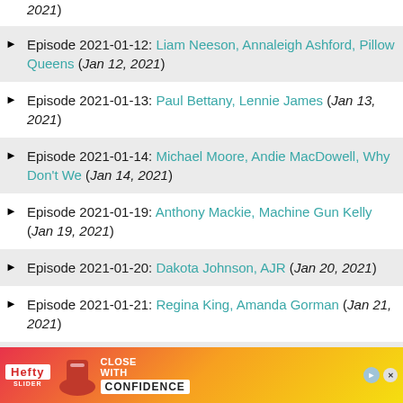2021)
Episode 2021-01-12: Liam Neeson, Annaleigh Ashford, Pillow Queens (Jan 12, 2021)
Episode 2021-01-13: Paul Bettany, Lennie James (Jan 13, 2021)
Episode 2021-01-14: Michael Moore, Andie MacDowell, Why Don't We (Jan 14, 2021)
Episode 2021-01-19: Anthony Mackie, Machine Gun Kelly (Jan 19, 2021)
Episode 2021-01-20: Dakota Johnson, AJR (Jan 20, 2021)
Episode 2021-01-21: Regina King, Amanda Gorman (Jan 21, 2021)
Episode 2021-01-25: Halsey, Penn & Teller (Jan 25, ...